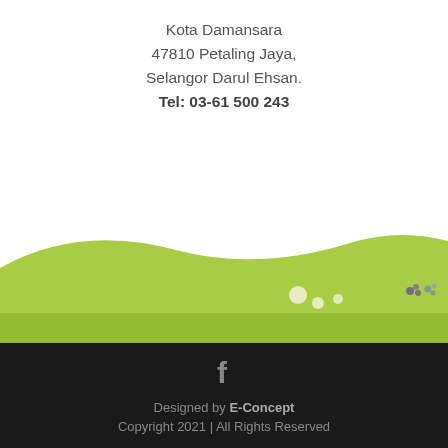Kota Damansara
47810 Petaling Jaya,
Selangor Darul Ehsan.
Tel: 03-61 500 243
[Figure (illustration): Green curved lawn/hill with small white round shapes and small decorative flower/butterfly icons on the right, transitioning from white background above to green below]
f
Designed by E-Concept
Copyright 2021 | All Rights Reserved